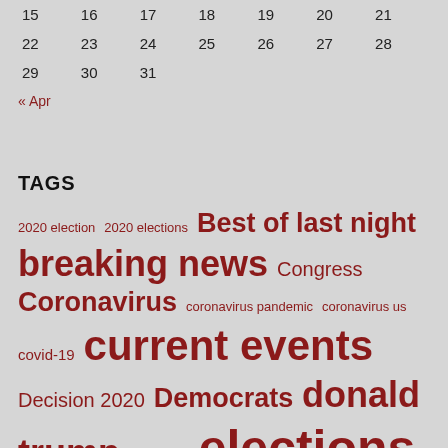|  |  |  |  |  |  |  |
| --- | --- | --- | --- | --- | --- | --- |
| 15 | 16 | 17 | 18 | 19 | 20 | 21 |
| 22 | 23 | 24 | 25 | 26 | 27 | 28 |
| 29 | 30 | 31 |  |  |  |  |
« Apr
TAGS
2020 election 2020 elections Best of last night breaking news Congress Coronavirus coronavirus pandemic coronavirus us covid-19 current events Decision 2020 Democrats donald trump economy elections GOP health Joe Biden Joe Scarborough Mika Brezinski Mika Brzezinski Morning Joe morning joe full morning joe live morning joe today MSNBC MSNBC latest MSNBC live MSNBC news MSNBC TV National